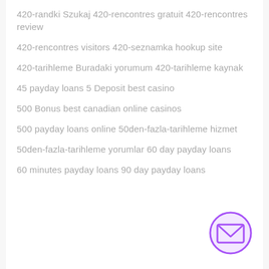420-randki Szukaj 420-rencontres gratuit 420-rencontres review
420-rencontres visitors 420-seznamka hookup site
420-tarihleme Buradaki yorumum 420-tarihleme kaynak
45 payday loans 5 Deposit best casino
500 Bonus best canadian online casinos
500 payday loans online 50den-fazla-tarihleme hizmet
50den-fazla-tarihleme yorumlar 60 day payday loans
60 minutes payday loans 90 day payday loans
[Figure (illustration): Email envelope icon inside a purple/violet circle, located bottom right of page]